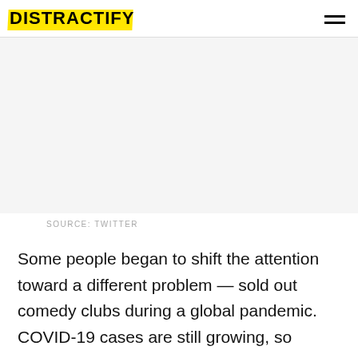DISTRACTIFY
[Figure (photo): Large image area, appears blank/white (Twitter screenshot placeholder)]
SOURCE: TWITTER
Some people began to shift the attention toward a different problem — sold out comedy clubs during a global pandemic. COVID-19 cases are still growing, so